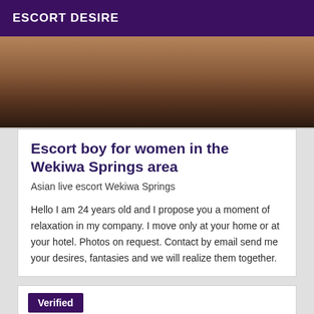ESCORT DESIRE
[Figure (photo): Close-up cropped photo of a person's face, warm skin tones, dark background at bottom]
Escort boy for women in the Wekiwa Springs area
Asian live escort Wekiwa Springs
Hello I am 24 years old and I propose you a moment of relaxation in my company. I move only at your home or at your hotel. Photos on request. Contact by email send me your desires, fantasies and we will realize them together.
Verified